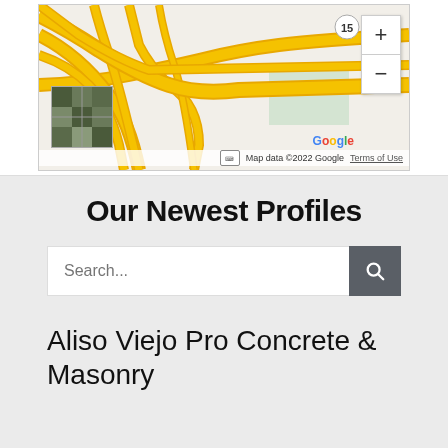[Figure (map): Google Maps view showing highway interchange with zoom controls, a satellite thumbnail inset, Google logo, and map data attribution footer reading 'Map data ©2022 Google  Terms of Use']
Our Newest Profiles
Search...
Aliso Viejo Pro Concrete & Masonry